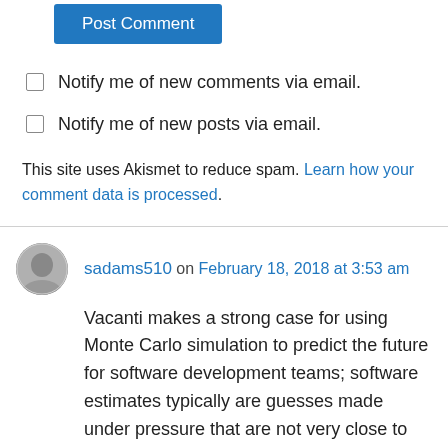[Figure (other): Blue 'Post Comment' button]
Notify me of new comments via email.
Notify me of new posts via email.
This site uses Akismet to reduce spam. Learn how your comment data is processed.
sadams510 on February 18, 2018 at 3:53 am
Vacanti makes a strong case for using Monte Carlo simulation to predict the future for software development teams; software estimates typically are guesses made under pressure that are not very close to what ends up actually happening.

“Given the uncertainty in knowledge work it